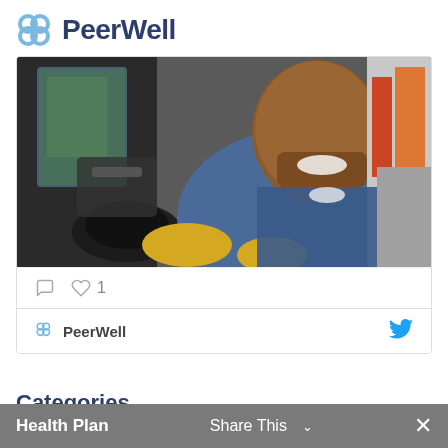PeerWell
[Figure (photo): A smiling man in a blue shirt and yellow work gloves sitting in the cab of a forklift or heavy vehicle, turned to look at the camera.]
1
PeerWell
Categories
Employer
Featured
Health Plan
Share This ✓  ×